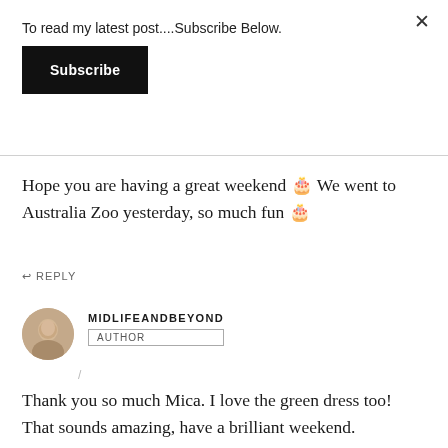To read my latest post....Subscribe Below.
Subscribe
Hope you are having a great weekend 🙂 We went to Australia Zoo yesterday, so much fun 🙂
↩ REPLY
MIDLIFEANDBEYOND
AUTHOR
/
Thank you so much Mica. I love the green dress too! That sounds amazing, have a brilliant weekend.